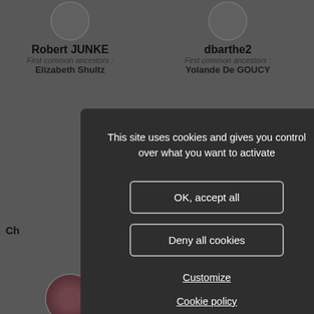[Figure (screenshot): Background of a genealogy website showing user cards with names Robert JUNKE, dbarthe2, Mireille KEREMBELLEC, galcantara, with ancestor names and profile photos, partially obscured by a cookie consent modal overlay.]
This site uses cookies and gives you control over what you want to activate
OK, accept all
Deny all cookies
Customize
Cookie policy